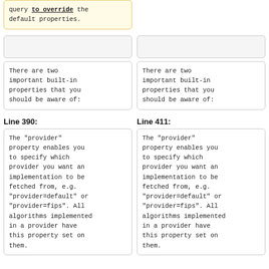query to override the default properties.
There are two important built-in properties that you should be aware of:
There are two important built-in properties that you should be aware of:
Line 390:
Line 411:
The "provider" property enables you to specify which provider you want an implementation to be fetched from, e.g. "provider=default" or "provider=fips". All algorithms implemented in a provider have this property set on them.
The "provider" property enables you to specify which provider you want an implementation to be fetched from, e.g. "provider=default" or "provider=fips". All algorithms implemented in a provider have this property set on them.